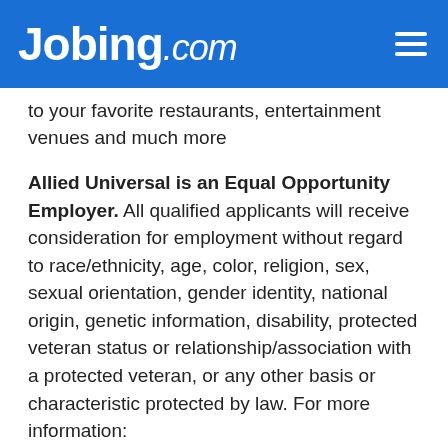Jobing.com
to your favorite restaurants, entertainment venues and much more
Allied Universal is an Equal Opportunity Employer. All qualified applicants will receive consideration for employment without regard to race/ethnicity, age, color, religion, sex, sexual orientation, gender identity, national origin, genetic information, disability, protected veteran status or relationship/association with a protected veteran, or any other basis or characteristic protected by law. For more information: www.aus.com
If you have any questions regarding Equal Employment Opportunity, Affirmative Action, Diversity